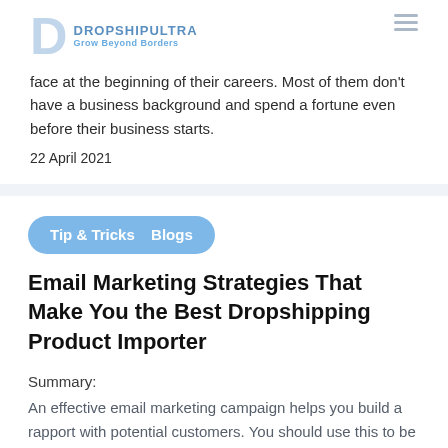DROPSHIPULTRA Grow Beyond Borders
face at the beginning of their careers. Most of them don't have a business background and spend a fortune even before their business starts.
22 April 2021
Tip & Tricks   Blogs
Email Marketing Strategies That Make You the Best Dropshipping Product Importer
Summary:
An effective email marketing campaign helps you build a rapport with potential customers. You should use this to be the best dropshipping product importer and share important updates and news about your dropshipping products.
22 April 2021